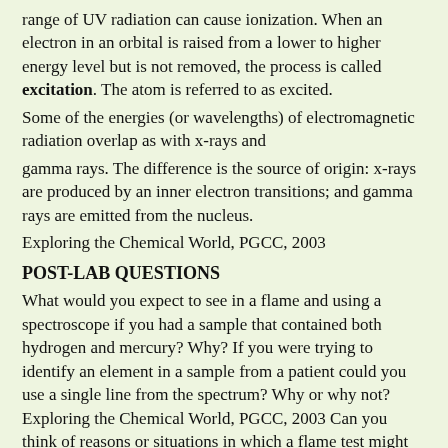range of UV radiation can cause ionization. When an electron in an orbital is raised from a lower to higher energy level but is not removed, the process is called excitation. The atom is referred to as excited.
Some of the energies (or wavelengths) of electromagnetic radiation overlap as with x-rays and
gamma rays. The difference is the source of origin: x-rays are produced by an inner electron transitions; and gamma rays are emitted from the nucleus.
Exploring the Chemical World, PGCC, 2003
POST-LAB QUESTIONS
What would you expect to see in a flame and using a spectroscope if you had a sample that contained both hydrogen and mercury? Why? If you were trying to identify an element in a sample from a patient could you use a single line from the spectrum? Why or why not? Exploring the Chemical World, PGCC, 2003 Can you think of reasons or situations in which a flame test might be used rather than spectroscopy using a diffraction grating? Explain. What is the minimum wavelength in nanometers (nm) of ultraviolet light that can cause ionization if the average energy required for ionization is 25 eV? (hc=he lam/energy) No...